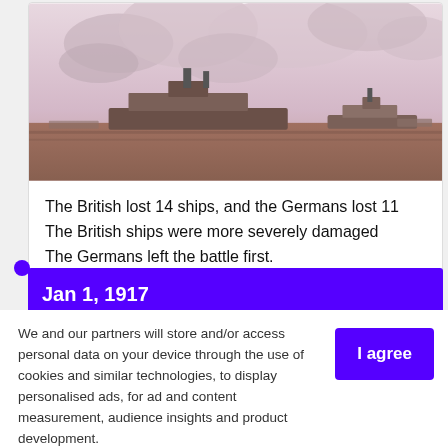[Figure (photo): Historical painting/photograph of naval warships with heavy smoke on the sea, depicting a World War I naval battle scene.]
The British lost 14 ships, and the Germans lost 11
The British ships were more severely damaged
The Germans left the battle first.
Jan 1, 1917
We and our partners will store and/or access personal data on your device through the use of cookies and similar technologies, to display personalised ads, for ad and content measurement, audience insights and product development.

By clicking 'I agree,' you consent to this, or you can manage your preferences.